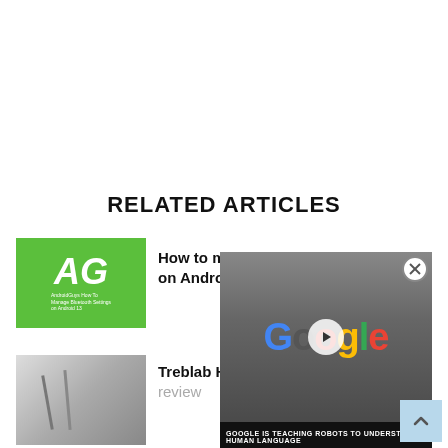RELATED ARTICLES
[Figure (photo): AndroidGuys How To Manage Bluetooth Settings on Android 13 - green logo thumbnail]
How to manage Bluetooth settings on Android...
[Figure (photo): Treblab HD Max Bluetooth Speaker product photo thumbnail]
Treblab HD Max Bluetooth Speaker review
[Figure (screenshot): Video overlay showing Google building sign with play button and caption GOOGLE IS TEACHING ROBOTS TO UNDERSTAND HUMAN LANGUAGE]